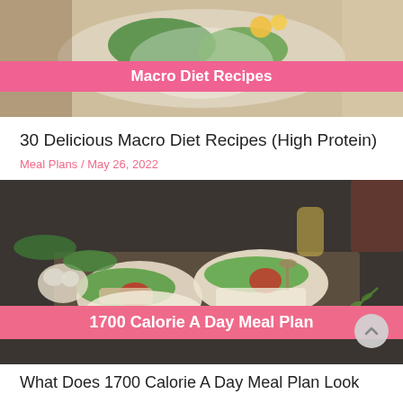[Figure (photo): Top image of a macro diet recipe dish with greens and flowers on a wooden surface, with a pink banner overlay reading 'Macro Diet Recipes']
30 Delicious Macro Diet Recipes (High Protein)
Meal Plans / May 26, 2022
[Figure (photo): Photo of two chicken and vegetable wraps/burritos with lettuce and tomato on a dark stone surface with garlic, herbs, spices, and a glass of olive oil. Pink banner overlay at bottom reads '1700 Calorie A Day Meal Plan']
What Does 1700 Calorie A Day Meal Plan Look